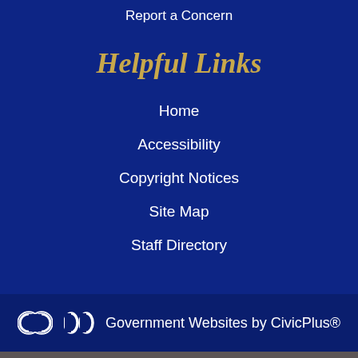Report a Concern
Helpful Links
Home
Accessibility
Copyright Notices
Site Map
Staff Directory
[Figure (logo): CivicPlus logo mark (cp icon in white) followed by text: Government Websites by CivicPlus®]
Government Websites by CivicPlus®
[Figure (infographic): Teal/cyan calendar with clock icon representing Agendas & Minutes]
Agendas & Minutes